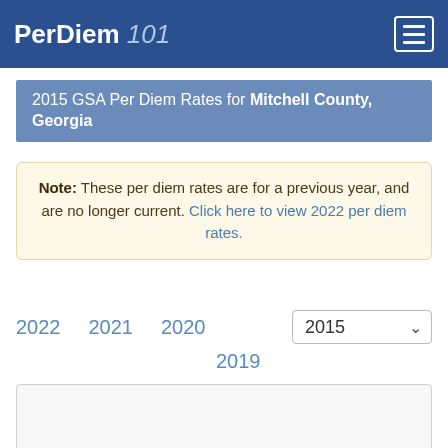PerDiem 101
2015 GSA Per Diem Rates for Mitchell County, Georgia
Note: These per diem rates are for a previous year, and are no longer current. Click here to view 2022 per diem rates.
2022  2021  2020  2019  2015
[Figure (other): Empty content area box]